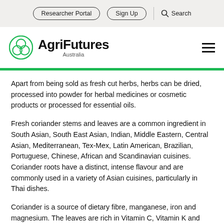Researcher Portal | Sign Up | Search
[Figure (logo): AgriFutures Australia logo with green trefoil/circle icon and bold black text 'AgriFutures' with 'Australia' below]
Apart from being sold as fresh cut herbs, herbs can be dried, processed into powder for herbal medicines or cosmetic products or processed for essential oils.
Fresh coriander stems and leaves are a common ingredient in South Asian, South East Asian, Indian, Middle Eastern, Central Asian, Mediterranean, Tex-Mex, Latin American, Brazilian, Portuguese, Chinese, African and Scandinavian cuisines. Coriander roots have a distinct, intense flavour and are commonly used in a variety of Asian cuisines, particularly in Thai dishes.
Coriander is a source of dietary fibre, manganese, iron and magnesium. The leaves are rich in Vitamin C, Vitamin K and protein and contain small amounts of calcium, phosphorus, potassium, thiamin, niacin and carotene.